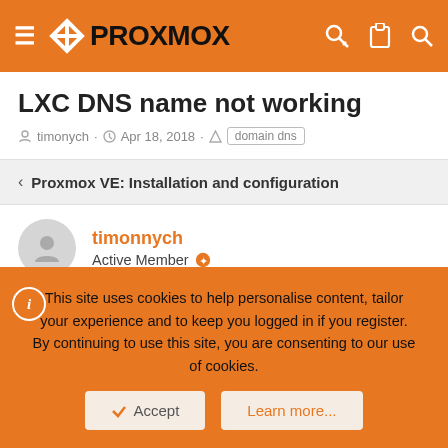Proxmox
LXC DNS name not working
timonychApr 18, 2018domain dns
Proxmox VE: Installation and configuration
timonychActive Member
Apr 18, 2018#1
This site uses cookies to help personalise content, tailor your experience and to keep you logged in if you register. By continuing to use this site, you are consenting to our use of cookies.